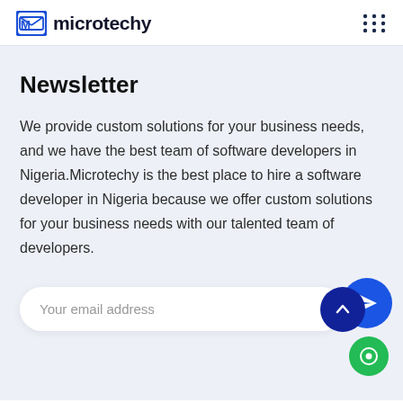microtechy
Newsletter
We provide custom solutions for your business needs, and we have the best team of software developers in Nigeria.Microtechy is the best place to hire a software developer in Nigeria because we offer custom solutions for your business needs with our talented team of developers.
Your email address